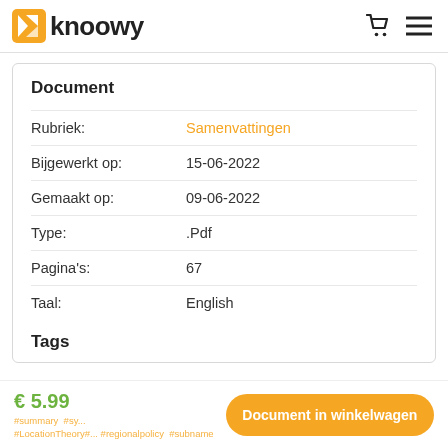knoowy
Document
| Label | Value |
| --- | --- |
| Rubriek: | Samenvattingen |
| Bijgewerkt op: | 15-06-2022 |
| Gemaakt op: | 09-06-2022 |
| Type: | .Pdf |
| Pagina's: | 67 |
| Taal: | English |
Tags
€ 5.99
Document in winkelwagen